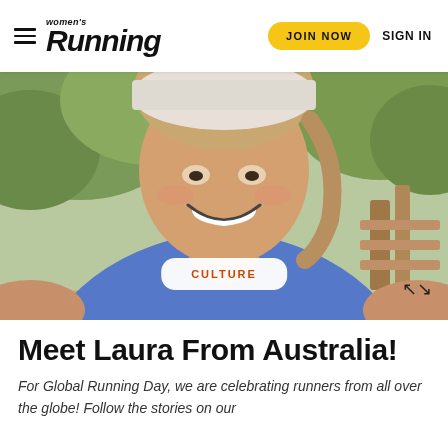women's Running — JOIN NOW  SIGN IN
[Figure (photo): Close-up selfie of a smiling woman wearing a blue tank top and a white cap, outdoors with green bushes and a wooden walkway in the background.]
CULTURE
Meet Laura From Australia!
For Global Running Day, we are celebrating runners from all over the globe! Follow the stories on our